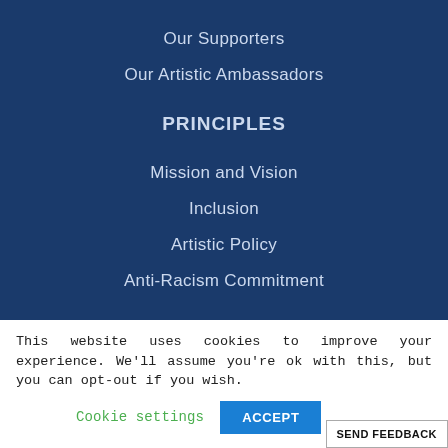Our Supporters
Our Artistic Ambassadors
PRINCIPLES
Mission and Vision
Inclusion
Artistic Policy
Anti-Racism Commitment
This website uses cookies to improve your experience. We'll assume you're ok with this, but you can opt-out if you wish.
Cookie settings  ACCEPT
SEND FEEDBACK